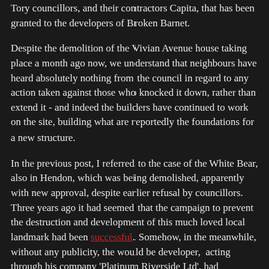Tory councillors, and their contractors Capita, that has been granted to the developers of Broken Barnet.
Despite the demolition of the Vivian Avenue house taking place a month ago now, we understand that neighbours have heard absolutely nothing from the council in regard to any action taken against those who knocked it down, rather than extend it - and indeed the builders have continued to work on the site, building what are reportedly the foundations for a new structure.
In the previous post, I referred to the case of the White Bear, also in Hendon, which was being demolished, apparently with new approval, despite earlier refusal by councillors. Three years ago it had seemed that the campaign to prevent the destruction and development of this much loved local landmark had been successful. Somehow, in the meanwhile, without any publicity, the would be developer, acting through his company 'Platinum Riverside Ltd', had continued with his plans, and had eventually received permission to build flats on the site.
Once work began, however, local residents became very upset, because it seemed the whole property was being destroyed, and